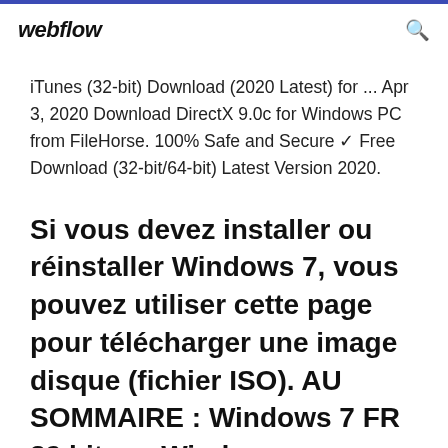webflow
iTunes (32-bit) Download (2020 Latest) for ... Apr 3, 2020 Download DirectX 9.0c for Windows PC from FileHorse. 100% Safe and Secure ✓ Free Download (32-bit/64-bit) Latest Version 2020.
Si vous devez installer ou réinstaller Windows 7, vous pouvez utiliser cette page pour télécharger une image disque (fichier ISO). AU SOMMAIRE : Windows 7 FR 32 bits : • Windows